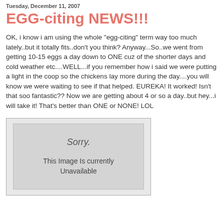Tuesday, December 11, 2007
EGG-citing NEWS!!!
OK, i know i am using the whole "egg-citing" term way too much lately..but it totally fits..don't you think? Anyway...So..we went from getting 10-15 eggs a day down to ONE cuz of the shorter days and cold weather etc....WELL...if you remember how i said we were putting a light in the coop so the chickens lay more during the day....you will know we were waiting to see if that helped. EUREKA! It worked! Isn't that soo fantastic?? Now we are getting about 4 or so a day..but hey...i will take it! That's better than ONE or NONE! LOL
[Figure (other): Sorry. This Image Is currently Unavailable — placeholder image box]